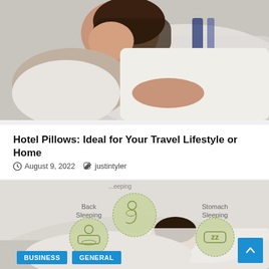[Figure (photo): Woman lying on bed with pillows, top photo of article]
BUSINESS
GENERAL
Hotel Pillows: Ideal for Your Travel Lifestyle or Home
August 9, 2022   justintyler
[Figure (infographic): Sleeping position infographic showing Back Sleeping, Side Sleeping (partially cut off at top), and Stomach Sleeping icons over a photo of a woman sleeping, with circular green icons for each position]
BUSINESS
GENERAL